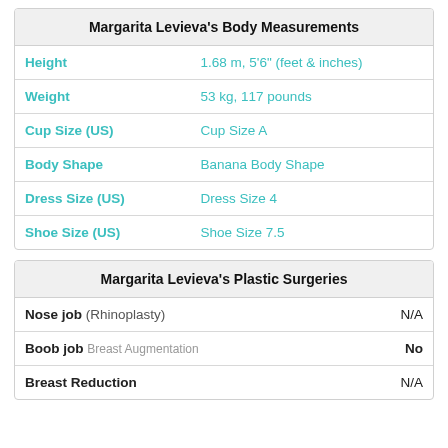| Margarita Levieva's Body Measurements |  |
| --- | --- |
| Height | 1.68 m, 5'6" (feet & inches) |
| Weight | 53 kg, 117 pounds |
| Cup Size (US) | Cup Size A |
| Body Shape | Banana Body Shape |
| Dress Size (US) | Dress Size 4 |
| Shoe Size (US) | Shoe Size 7.5 |
| Margarita Levieva's Plastic Surgeries |  |
| --- | --- |
| Nose job (Rhinoplasty) | N/A |
| Boob job Breast Augmentation | No |
| Breast Reduction | N/A |